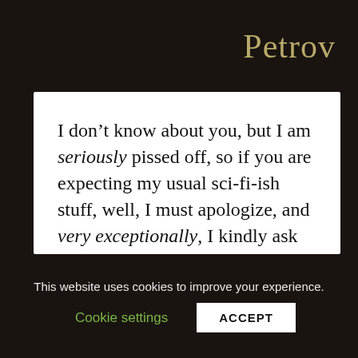Petrov
I don’t know about you, but I am seriously pissed off, so if you are expecting my usual sci-fi-ish stuff, well, I must apologize, and very exceptionally, I kindly ask you to ignore this page and go somewhere more rozy.
This website uses cookies to improve your experience.
Cookie settings
ACCEPT